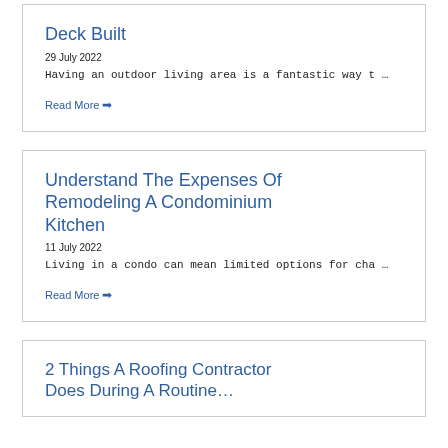Deck Built
29 July 2022
Having an outdoor living area is a fantastic way t …
Read More →
Understand The Expenses Of Remodeling A Condominium Kitchen
11 July 2022
Living in a condo can mean limited options for cha …
Read More →
2 Things A Roofing Contractor Does During A Routine…